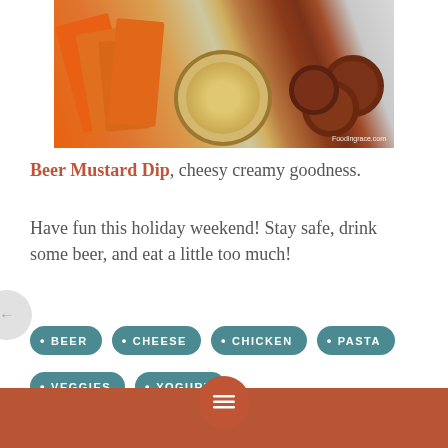[Figure (photo): A food photo showing a bowl of beer mustard dip surrounded by orange carrot sticks and brown pretzels on a white plate. Watermark reads 'Foodingrace.com']
Beer Mustard Dip, cheesy creamy goodness.
Have fun this holiday weekend! Stay safe, drink some beer, and eat a little too much!
BEER
CHEESE
CHICKEN
PASTA
VEGGIES
YOGURT